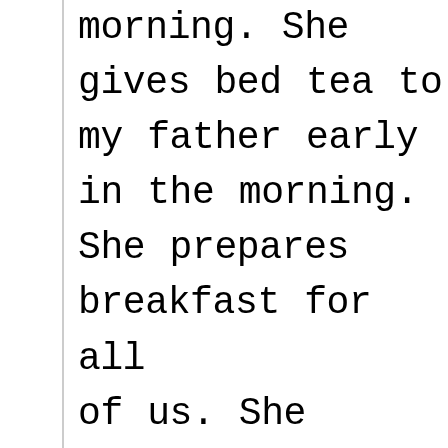morning. She gives bed tea to my father early in the morning. She prepares breakfast for all of us. She teaches well in the school. Her students lover her very much. She wears a sari. She makes me ready for school. She helps me in my studies also. She